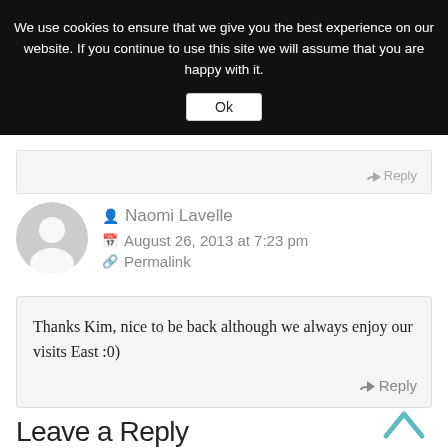We use cookies to ensure that we give you the best experience on our website. If you continue to use this site we will assume that you are happy with it.
Ok
↵ Reply
Naomi Lavelle
August 26, 2013 at 7:23 pm
Permalink
Thanks Kim, nice to be back although we always enjoy our visits East :0)
↵ Reply
Leave a Reply